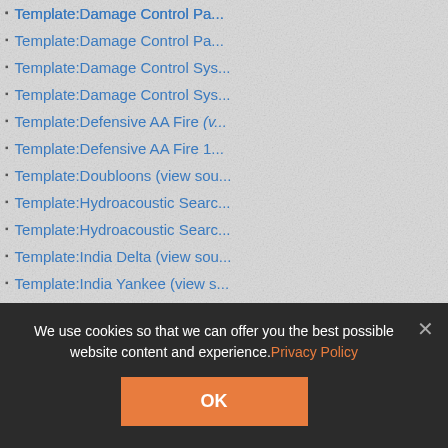Template:Damage Control Pa...
Template:Damage Control Pa...
Template:Damage Control Sys...
Template:Damage Control Sys...
Template:Defensive AA Fire (v...
Template:Defensive AA Fire 1...
Template:Doubloons (view sou...
Template:Hydroacoustic Searc...
Template:Hydroacoustic Searc...
Template:India Delta (view sou...
Template:India Yankee (view s...
Template:Level (view source)...
Template:Main Armaments Mo...
Template:Main Battery Reload...
Template:Main Battery Reload...
We use cookies so that we can offer you the best possible website content and experience. Privacy Policy
OK